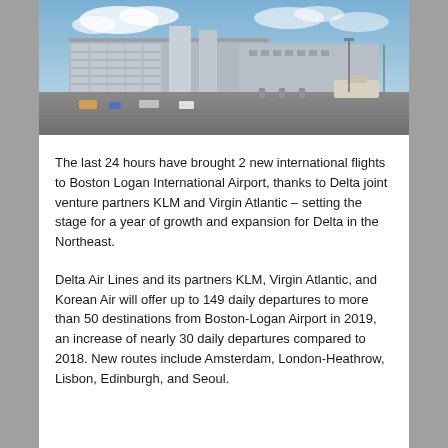[Figure (photo): Aerial/ground-level view of Boston Logan International Airport terminal and tarmac, with parking structure, control tower, and aircraft gates visible under a partly cloudy sky.]
The last 24 hours have brought 2 new international flights to Boston Logan International Airport, thanks to Delta joint venture partners KLM and Virgin Atlantic – setting the stage for a year of growth and expansion for Delta in the Northeast.
Delta Air Lines and its partners KLM, Virgin Atlantic, and Korean Air will offer up to 149 daily departures to more than 50 destinations from Boston-Logan Airport in 2019, an increase of nearly 30 daily departures compared to 2018. New routes include Amsterdam, London-Heathrow, Lisbon, Edinburgh, and Seoul.